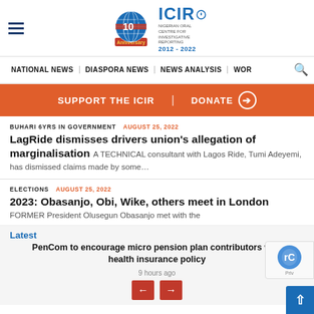ICIR 10th Anniversary 2012-2022
NATIONAL NEWS | DIASPORA NEWS | NEWS ANALYSIS | WOR
SUPPORT THE ICIR | DONATE
BUHARI 6YRS IN GOVERNMENT  AUGUST 25, 2022
LagRide dismisses drivers union's allegation of marginalisation A TECHNICAL consultant with Lagos Ride, Tumi Adeyemi, has dismissed claims made by some...
ELECTIONS  AUGUST 25, 2022
2023: Obasanjo, Obi, Wike, others meet in London FORMER President Olusegun Obasanjo met with the
Latest
PenCom to encourage micro pension plan contributors with health insurance policy
9 hours ago